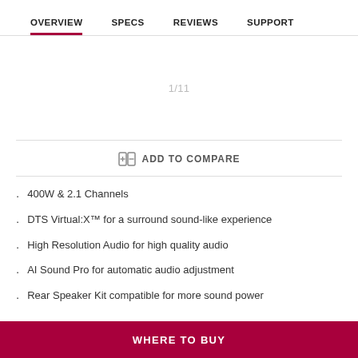OVERVIEW  SPECS  REVIEWS  SUPPORT
1/11
ADD TO COMPARE
400W & 2.1 Channels
DTS Virtual:X™ for a surround sound-like experience
High Resolution Audio for high quality audio
AI Sound Pro for automatic audio adjustment
Rear Speaker Kit compatible for more sound power
WHERE TO BUY